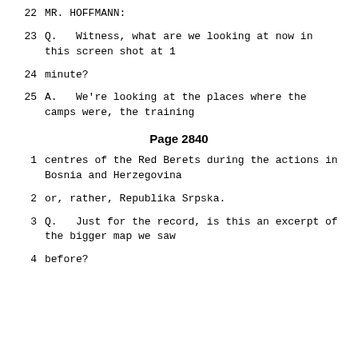22      MR. HOFFMANN:
23      Q.   Witness, what are we looking at now in this screen shot at 1
24      minute?
25      A.   We're looking at the places where the camps were, the training
Page 2840
1       centres of the Red Berets during the actions in Bosnia and Herzegovina
2       or, rather, Republika Srpska.
3       Q.   Just for the record, is this an excerpt of the bigger map we saw
4       before?